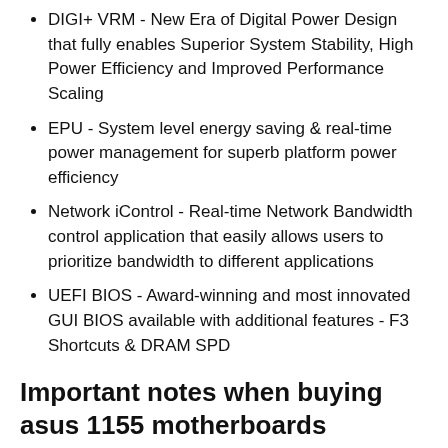DIGI+ VRM - New Era of Digital Power Design that fully enables Superior System Stability, High Power Efficiency and Improved Performance Scaling
EPU - System level energy saving & real-time power management for superb platform power efficiency
Network iControl - Real-time Network Bandwidth control application that easily allows users to prioritize bandwidth to different applications
UEFI BIOS - Award-winning and most innovated GUI BIOS available with additional features - F3 Shortcuts & DRAM SPD
Important notes when buying asus 1155 motherboards
There are some things you should consider when buying a asus 1155 motherboards. We spent 22 hours researching the